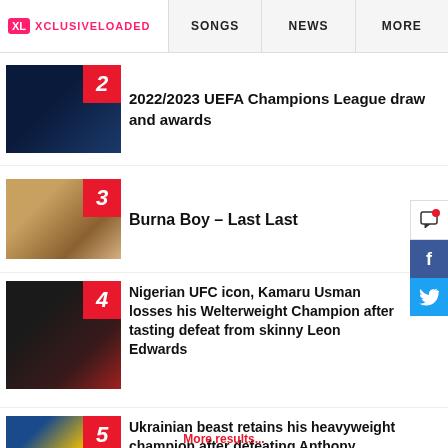XL XCLUSIVELOADED | SONGS | NEWS | MORE
2 2022/2023 UEFA Champions League draw and awards
3 Burna Boy – Last Last
4 Nigerian UFC icon, Kamaru Usman losses his Welterweight Champion after tasting defeat from skinny Leon Edwards
5 Ukrainian beast retains his heavyweight champion after defeating Anthony Joshua by split-decision